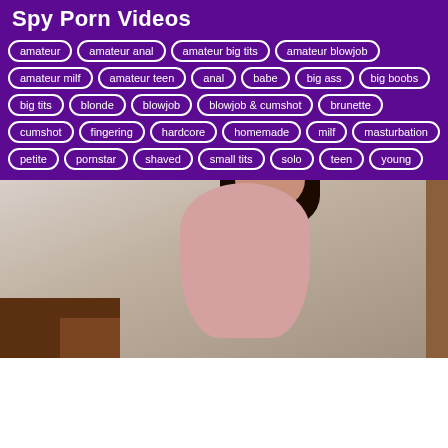Spy Porn Videos
amateur
amateur anal
amateur big tits
amateur blowjob
amateur milf
amateur teen
anal
babe
big ass
big boobs
big tits
blonde
blowjob
blowjob & cumshot
brunette
cumshot
fingering
hardcore
homemade
milf
masturbation
petite
pornstar
shaved
small tits
solo
teen
young
[Figure (photo): Woman with dark hair posing in light-colored top, with dark wood furniture visible at bottom left and a wall/door in the background]